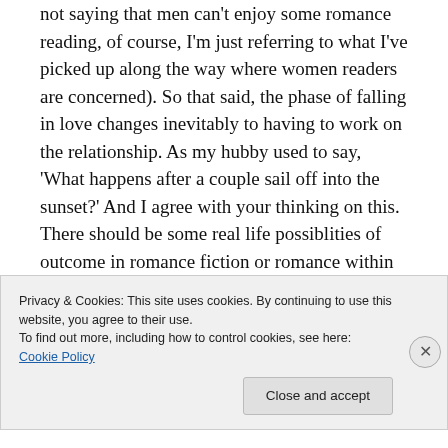not saying that men can't enjoy some romance reading, of course, I'm just referring to what I've picked up along the way where women readers are concerned). So that said, the phase of falling in love changes inevitably to having to work on the relationship. As my hubby used to say, 'What happens after a couple sail off into the sunset?' And I agree with your thinking on this. There should be some real life possiblities of outcome in romance fiction or romance within fiction. (Will share this!)
Privacy & Cookies: This site uses cookies. By continuing to use this website, you agree to their use. To find out more, including how to control cookies, see here: Cookie Policy